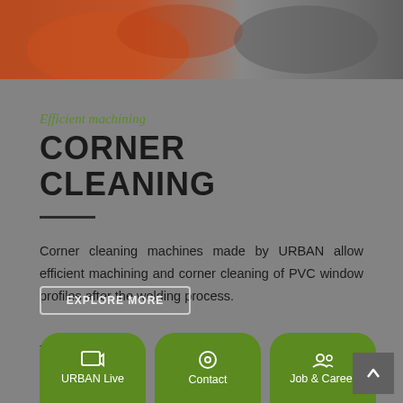[Figure (photo): Top banner image showing orange and grey metallic machined components close-up]
Efficient machining
CORNER CLEANING
Corner cleaning machines made by URBAN allow efficient machining and corner cleaning of PVC window profiles after the welding process.
[Figure (screenshot): Bottom navigation bar with URBAN Live, Contact, and Job & Career pill buttons in green, plus a scroll-up button]
Th... ...e for